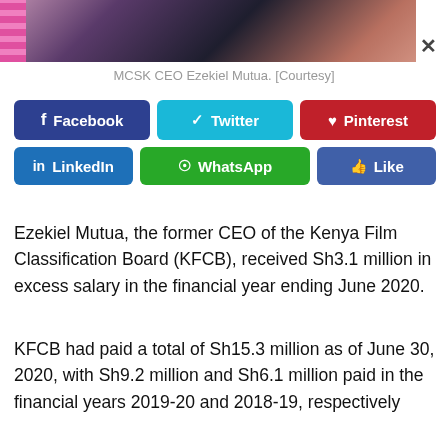[Figure (photo): Partial photo of MCSK CEO Ezekiel Mutua with pink stripes on left side and dark background]
MCSK CEO Ezekiel Mutua. [Courtesy]
[Figure (infographic): Social media share buttons: Facebook (blue), Twitter (cyan), Pinterest (red), LinkedIn (blue), WhatsApp (green), Like (blue)]
Ezekiel Mutua, the former CEO of the Kenya Film Classification Board (KFCB), received Sh3.1 million in excess salary in the financial year ending June 2020.
KFCB had paid a total of Sh15.3 million as of June 30, 2020, with Sh9.2 million and Sh6.1 million paid in the financial years 2019-20 and 2018-19, respectively